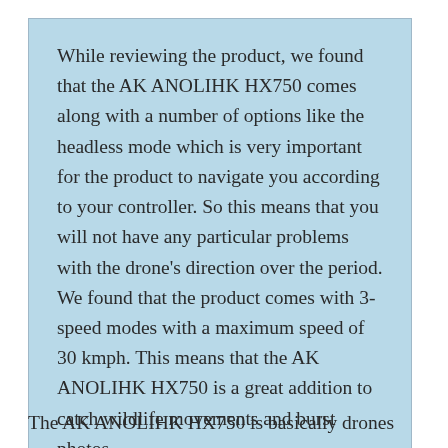While reviewing the product, we found that the AK ANOLIHK HX750 comes along with a number of options like the headless mode which is very important for the product to navigate you according to your controller. So this means that you will not have any particular problems with the drone's direction over the period. We found that the product comes with 3-speed modes with a maximum speed of 30 kmph. This means that the AK ANOLIHK HX750 is a great addition to catch wildlife movements and burst photos.
The AK ANOLIHK HX750 is basically drones